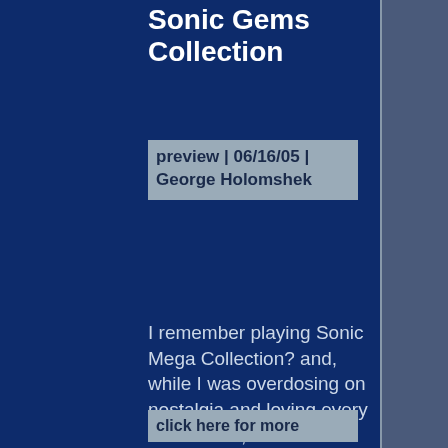Sonic Gems Collection
preview | 06/16/05 | George Holomshek
I remember playing Sonic Mega Collection? and, while I was overdosing on nostalgia and loving every minute of it, there were a few things I wis......
click here for more